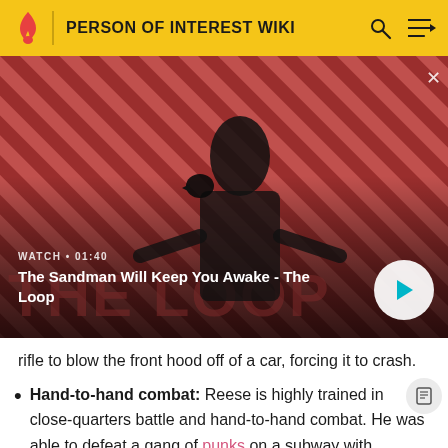PERSON OF INTEREST WIKI
[Figure (screenshot): Video thumbnail showing The Sandman character with a crow on shoulder against red diagonal striped background. Shows title 'The Sandman Will Keep You Awake - The Loop', duration WATCH • 01:40, with a play button.]
rifle to blow the front hood off of a car, forcing it to crash.
Hand-to-hand combat: Reese is highly trained in close-quarters battle and hand-to-hand combat. He was able to defeat a gang of punks on a subway with